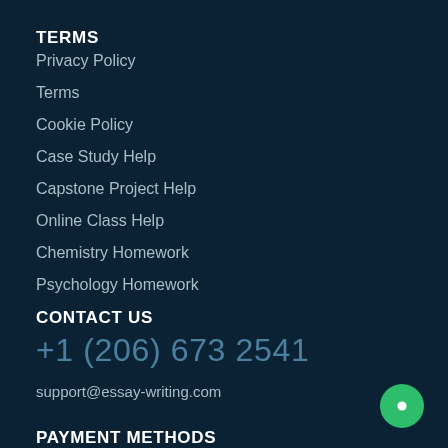TERMS
Privacy Policy
Terms
Cookie Policy
Case Study Help
Capstone Project Help
Online Class Help
Chemistry Homework
Psychology Homework
CONTACT US
+1 (206) 673 2541
support@essay-writing.com
PAYMENT METHODS